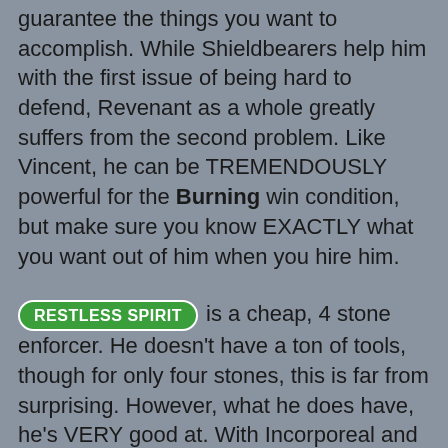guarantee the things you want to accomplish. While Shieldbearers help him with the first issue of being hard to defend, Revenant as a whole greatly suffers from the second problem. Like Vincent, he can be TREMENDOUSLY powerful for the Burning win condition, but make sure you know EXACTLY what you want out of him when you hire him.
RESTLESS SPIRIT is a cheap, 4 stone enforcer. He doesn't have a ton of tools, though for only four stones, this is far from surprising. However, what he does have, he's VERY good at. With Incorporeal and 5 movement, the Restless Spirit can be a surprise scoring threat